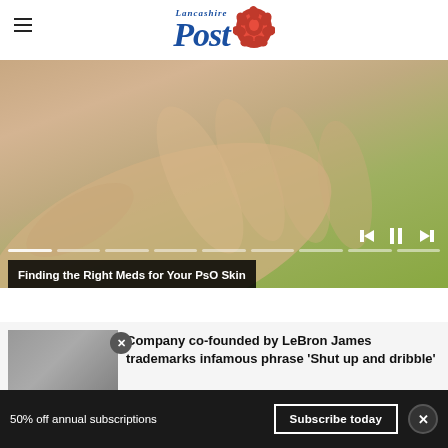Lancashire Post
[Figure (photo): Close-up photo of a person's open hand against a green background, with video player controls and a progress bar overlay. Caption reads: Finding the Right Meds for Your PsO Skin]
Finding the Right Meds for Your PsO Skin
[Figure (photo): Thumbnail image of an article about Company co-founded by LeBron James trademarking the phrase 'Shut up and dribble']
Company co-founded by LeBron James trademarks infamous phrase ‘Shut up and dribble’
50% off annual subscriptions
Subscribe today